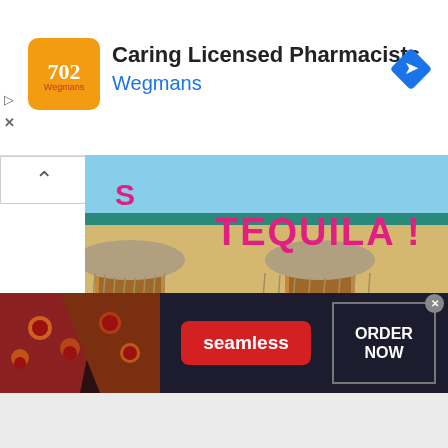[Figure (screenshot): Advertisement banner: Wegmans pharmacy ad with orange logo, title 'Caring Licensed Pharmacists', subtitle 'Wegmans', and a blue navigation diamond icon]
[Figure (photo): Photo of a building exterior with thatched awnings showing partial text 'TEQUILA !' on a yellow/beige stucco building with orange-framed windows and blue sky]
6 GIFT IDEAS FOR THE TEQUILA DRINKER
October 11, 2021
We all have that friend who is
[Figure (screenshot): Seamless food delivery advertisement with pizza image on dark background, red Seamless button, and white ORDER NOW button]